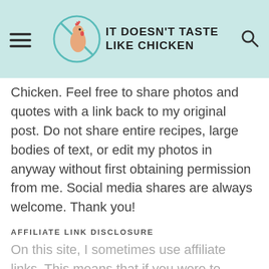[Figure (logo): It Doesn't Taste Like Chicken website header with logo (cartoon chicken in a circle), site title text, hamburger menu icon, and search icon on a teal/mint background]
Chicken. Feel free to share photos and quotes with a link back to my original post. Do not share entire recipes, large bodies of text, or edit my photos in anyway without first obtaining permission from me. Social media shares are always welcome. Thank you!
AFFILIATE LINK DISCLOSURE
On this site, I sometimes use affiliate links. This means that if you were to